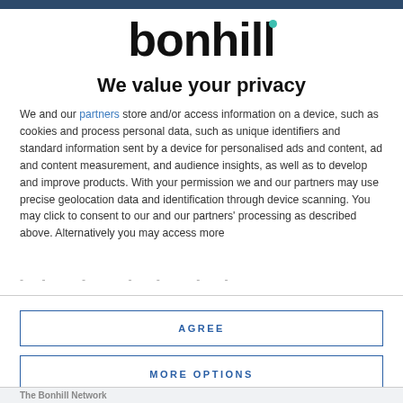[Figure (logo): Bonhill logo — wordmark 'bonhill' in bold black with a small teal dot above the letter 'i']
We value your privacy
We and our partners store and/or access information on a device, such as cookies and process personal data, such as unique identifiers and standard information sent by a device for personalised ads and content, ad and content measurement, and audience insights, as well as to develop and improve products. With your permission we and our partners may use precise geolocation data and identification through device scanning. You may click to consent to our and our partners' processing as described above. Alternatively you may access more
AGREE
MORE OPTIONS
The Bonhill Network